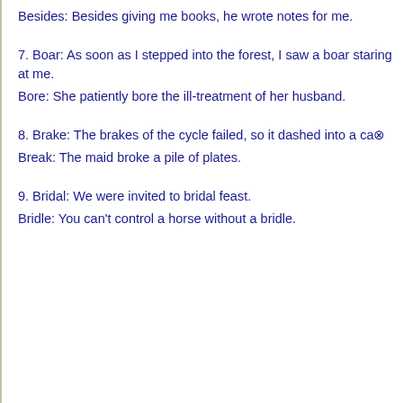Besides: Besides giving me books, he wrote notes for me.
7. Boar: As soon as I stepped into the forest, I saw a boar staring at me.
Bore: She patiently bore the ill-treatment of her husband.
8. Brake: The brakes of the cycle failed, so it dashed into a ca...
Break: The maid broke a pile of plates.
9. Bridal: We were invited to bridal feast.
Bridle: You can't control a horse without a bridle.